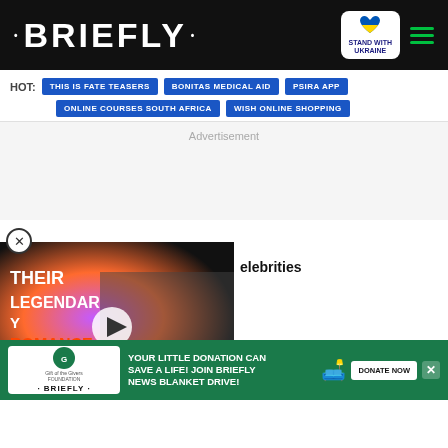· BRIEFLY ·
HOT: THIS IS FATE TEASERS | BONITAS MEDICAL AID | PSIRA APP | ONLINE COURSES SOUTH AFRICA | WISH ONLINE SHOPPING
Advertisement
[Figure (screenshot): Video thumbnail showing two male celebrities with overlay text THEIR LEGENDARY ROMANCE and a play button]
elebrities
YOUR LITTLE DONATION CAN SAVE A LIFE! JOIN BRIEFLY NEWS BLANKET DRIVE!